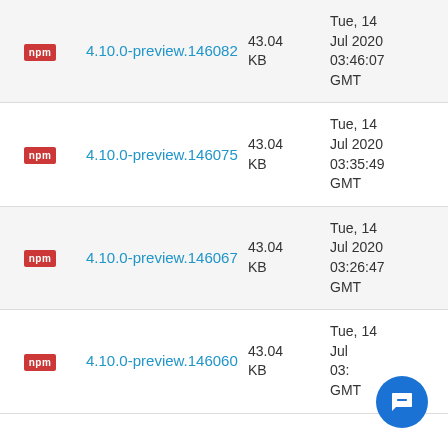|  | Package | Size | Date |
| --- | --- | --- | --- |
| npm | 4.10.0-preview.146082 | 43.04 KB | Tue, 14 Jul 2020 03:46:07 GMT |
| npm | 4.10.0-preview.146075 | 43.04 KB | Tue, 14 Jul 2020 03:35:49 GMT |
| npm | 4.10.0-preview.146067 | 43.04 KB | Tue, 14 Jul 2020 03:26:47 GMT |
| npm | 4.10.0-preview.146060 | 43.04 KB | Tue, 14 Jul 2020 03:__:__ GMT |